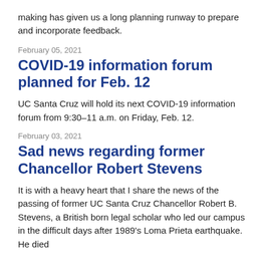making has given us a long planning runway to prepare and incorporate feedback.
February 05, 2021
COVID-19 information forum planned for Feb. 12
UC Santa Cruz will hold its next COVID-19 information forum from 9:30–11 a.m. on Friday, Feb. 12.
February 03, 2021
Sad news regarding former Chancellor Robert Stevens
It is with a heavy heart that I share the news of the passing of former UC Santa Cruz Chancellor Robert B. Stevens, a British born legal scholar who led our campus in the difficult days after 1989's Loma Prieta earthquake. He died